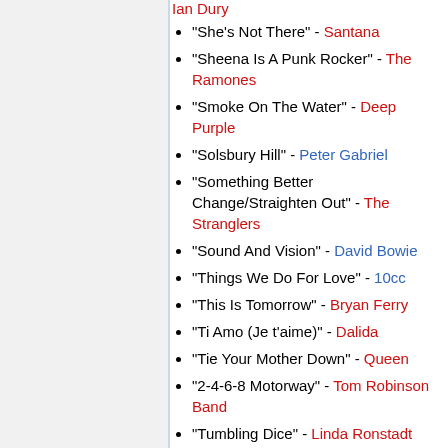Ian Dury
"She's Not There" - Santana
"Sheena Is A Punk Rocker" - The Ramones
"Smoke On The Water" - Deep Purple
"Solsbury Hill" - Peter Gabriel
"Something Better Change/Straighten Out" - The Stranglers
"Sound And Vision" - David Bowie
"Things We Do For Love" - 10cc
"This Is Tomorrow" - Bryan Ferry
"Ti Amo (Je t'aime)" - Dalida
"Tie Your Mother Down" - Queen
"2-4-6-8 Motorway" - Tom Robinson Band
"Tumbling Dice" - Linda Ronstadt
"Walk This Way" - Aerosmith